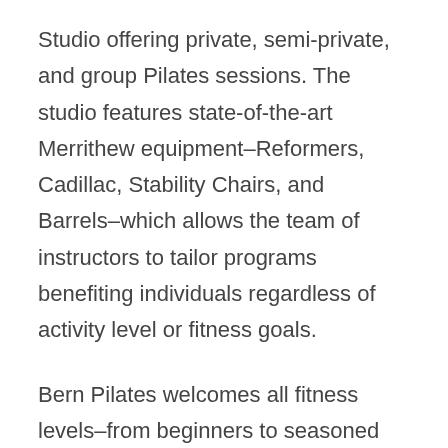Studio offering private, semi-private, and group Pilates sessions. The studio features state-of-the-art Merrithew equipment–Reformers, Cadillac, Stability Chairs, and Barrels–which allows the team of instructors to tailor programs benefiting individuals regardless of activity level or fitness goals.
Bern Pilates welcomes all fitness levels–from beginners to seasoned athletes, and everyone in between. Our mission is to promote a strong mind and body connection all while developing long, lean muscles, core strength, cardiovascular endurance, and flexibility in a safe environment.